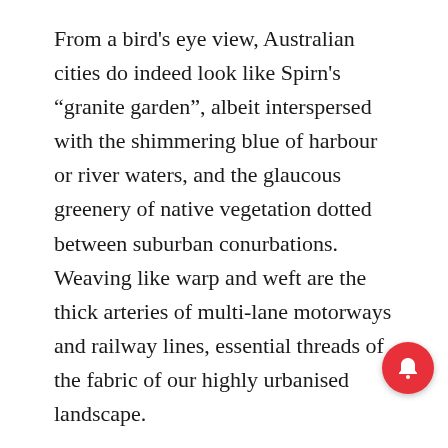From a bird's eye view, Australian cities do indeed look like Spirn's “granite garden”, albeit interspersed with the shimmering blue of harbour or river waters, and the glaucous greenery of native vegetation dotted between suburban conurbations. Weaving like warp and weft are the thick arteries of multi-lane motorways and railway lines, essential threads of the fabric of our highly urbanised landscape.
With state and federal governments’ planning policies focusing on urban consolidation, and higher-density residential living in particular, Australia’s “granite gardens” are destined to become greyer, denser, hotter if planners, architects and developers carry on with a